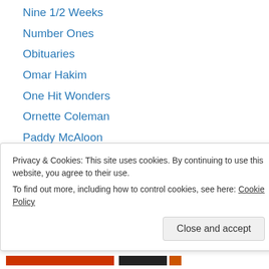Nine 1/2 Weeks
Number Ones
Obituaries
Omar Hakim
One Hit Wonders
Ornette Coleman
Paddy McAloon
Pat Metheny
Paul McCartney
Paul Simon
Peter Gabriel
Pharrell
Phil Collins
Phil Ramone (partial)
Privacy & Cookies: This site uses cookies. By continuing to use this website, you agree to their use. To find out more, including how to control cookies, see here: Cookie Policy
Close and accept